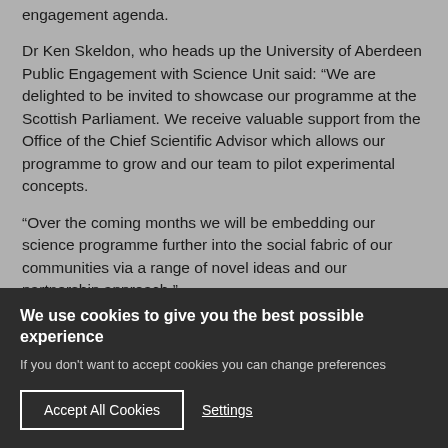engagement agenda.
Dr Ken Skeldon, who heads up the University of Aberdeen Public Engagement with Science Unit said: “We are delighted to be invited to showcase our programme at the Scottish Parliament. We receive valuable support from the Office of the Chief Scientific Advisor which allows our programme to grow and our team to pilot experimental concepts.
“Over the coming months we will be embedding our science programme further into the social fabric of our communities via a range of novel ideas and our partnership approach.”
We use cookies to give you the best possible experience
If you don't want to accept cookies you can change preferences
Accept All Cookies
Settings